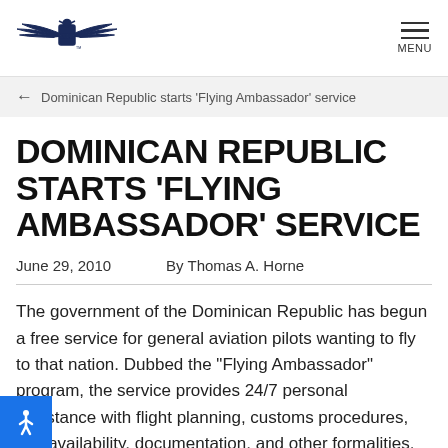[Figure (logo): AOPA winged logo with eagle and shield emblem]
MENU
← Dominican Republic starts 'Flying Ambassador' service
DOMINICAN REPUBLIC STARTS 'FLYING AMBASSADOR' SERVICE
June 29, 2010    By Thomas A. Horne
The government of the Dominican Republic has begun a free service for general aviation pilots wanting to fly to that nation. Dubbed the "Flying Ambassador" program, the service provides 24/7 personal assistance with flight planning, customs procedures, fuel availability, documentation, and other formalities.